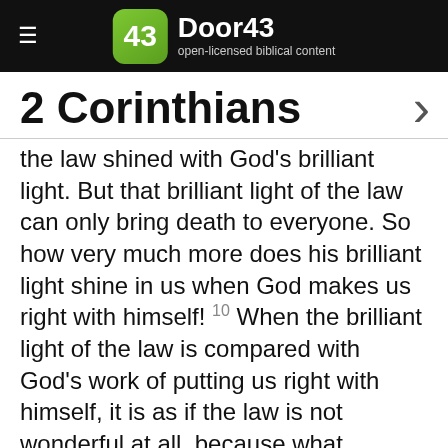Door43 open-licensed biblical content
2 Corinthians
the law shined with God's brilliant light. But that brilliant light of the law can only bring death to everyone. So how very much more does his brilliant light shine in us when God makes us right with himself! 10 When the brilliant light of the law is compared with God's work of putting us right with himself, it is as if the law is not wonderful at all, because what replaced it is so much more wonderful! 11 So you can see that the law, which is passing away, was wonderful, but you can also see that